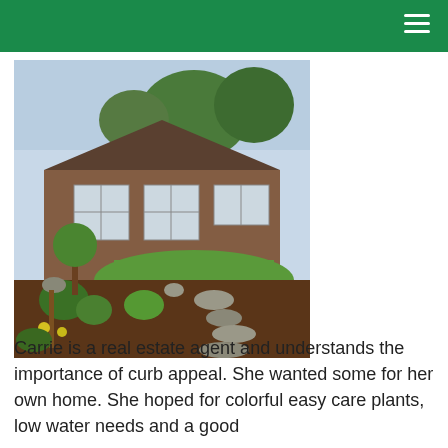[Figure (photo): A ranch-style brick home with a newly landscaped front yard featuring a stone pathway, mulched garden beds with plants and small trees, and a manicured green lawn.]
Carrie is a real estate agent and understands the importance of curb appeal.  She wanted some for her own home.  She hoped for colorful easy care plants, low water needs and a good